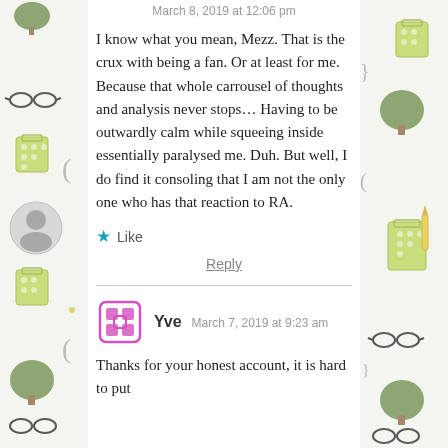March 8, 2019 at 12:06 pm
I know what you mean, Mezz. That is the crux with being a fan. Or at least for me. Because that whole carrousel of thoughts and analysis never stops… Having to be outwardly calm while squeeing inside essentially paralysed me. Duh. But well, I do find it consoling that I am not the only one who has that reaction to RA.
Like
Reply
Yve  March 7, 2019 at 9:23 am
Thanks for your honest account, it is hard to put